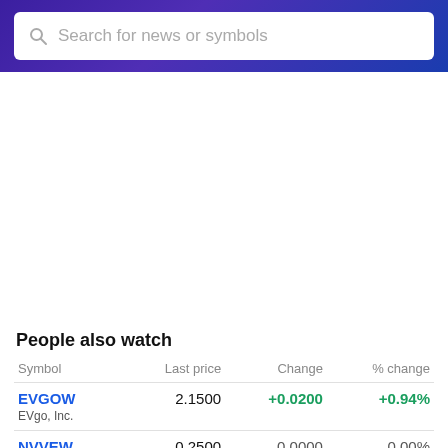Search for news or symbols
People also watch
| Symbol | Last price | Change | % change |
| --- | --- | --- | --- |
| EVGOW | 2.1500 | +0.0200 | +0.94% |
| EVgo, Inc. |  |  |  |
| NVVEW | 0.2500 | 0.0000 | 0.00% |
| Nvve Holdings C... |  |  |  |